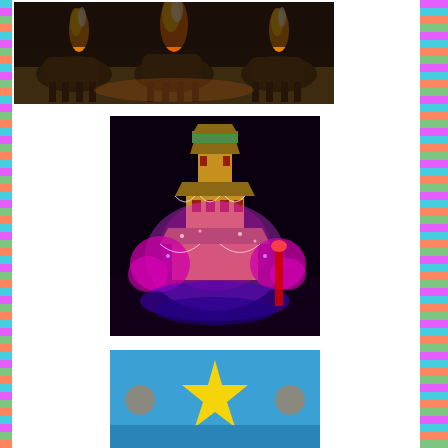[Figure (photo): Night photo of fire-breathing animal sculptures (ox/bull), illuminated by flames, sandy ground, dark background]
[Figure (photo): Night photo of a Chinese pagoda tower structure decorated with pink and purple lights and ornamental trees, festive celebration setting]
[Figure (photo): Partial view of a festive banner or display with blue background and yellow star graphic]